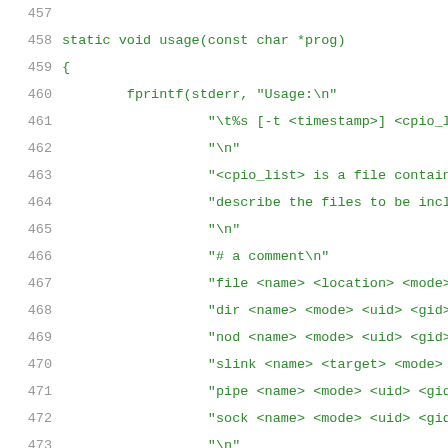[Figure (screenshot): Source code viewer showing C code for a usage() function, lines 457-478, with green monospace text on white background and grey line numbers.]